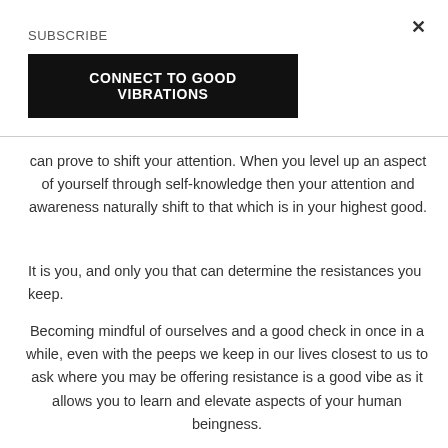×
SUBSCRIBE
CONNECT TO GOOD VIBRATIONS
can prove to shift your attention. When you level up an aspect of yourself through self-knowledge then your attention and awareness naturally shift to that which is in your highest good.
It is you, and only you that can determine the resistances you keep.
Becoming mindful of ourselves and a good check in once in a while, even with the peeps we keep in our lives closest to us to ask where you may be offering resistance is a good vibe as it allows you to learn and elevate aspects of your human beingness.